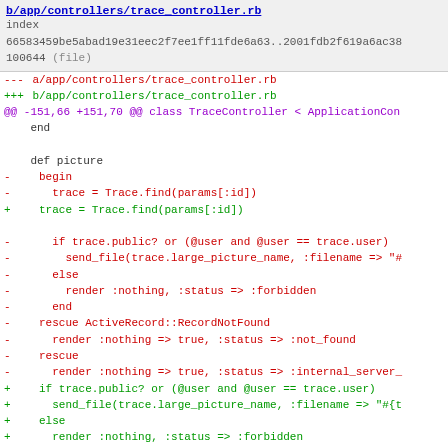b/app/controllers/trace_controller.rb
index
66583459be5abad19e31eec2f7ee1ff11fde6a63..2001fdb2f619a6ac38
100644 (file)
--- a/app/controllers/trace_controller.rb
+++ b/app/controllers/trace_controller.rb
@@ -151,66 +151,70 @@ class TraceController < ApplicationCon
end

    def picture
-       begin
-         trace = Trace.find(params[:id])
+     trace = Trace.find(params[:id])

-         if trace.public? or (@user and @user == trace.user)
-           send_file(trace.large_picture_name, :filename => "#
-         else
-           render :nothing, :status => :forbidden
-         end
-     rescue ActiveRecord::RecordNotFound
-       render :nothing => true, :status => :not_found
-     rescue
-       render :nothing => true, :status => :internal_server_
+     if trace.public? or (@user and @user == trace.user)
+       send_file(trace.large_picture_name, :filename => "#{t
+     else
+       render :nothing, :status => :forbidden
+     end
+   rescue ActiveRecord::RecordNotFound
+     render :nothing => true, :status => :not_found
    end